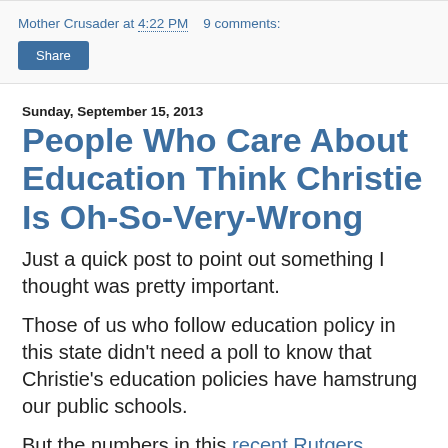Mother Crusader at 4:22 PM   9 comments:
Share
Sunday, September 15, 2013
People Who Care About Education Think Christie Is Oh-So-Very-Wrong
Just a quick post to point out something I thought was pretty important.
Those of us who follow education policy in this state didn't need a poll to know that Christie's education policies have hamstrung our public schools.
But the numbers in this recent Rutgers Eagleton poll are very telling.
Support of Christie's performance on education has remained steady since